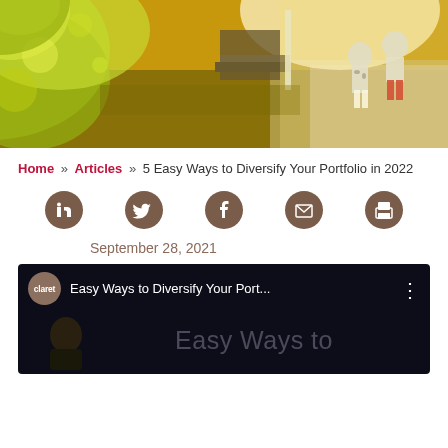[Figure (photo): Outdoor photo showing children walking on a sidewalk with yellow-green bokeh foliage in the foreground and warm sunlight.]
Home » Articles » 5 Easy Ways to Diversify Your Portfolio in 2022
[Figure (infographic): Row of 5 social sharing icon buttons: LinkedIn, Twitter, Facebook, Email, Print — brown circular icons on white background.]
September 28, 2021
[Figure (screenshot): Video thumbnail with dark background, claret logo avatar, title 'Easy Ways to Diversify Your Port...' with three-dot menu, and large light-grey text 'Easy Ways to' with a person's head partially visible.]